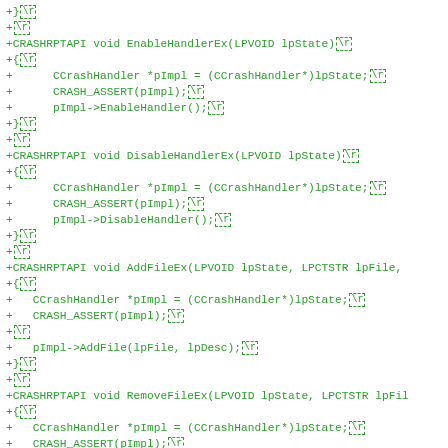[Figure (screenshot): Code diff screenshot showing green added lines of C++ source code with CRASHRPTAPI functions: EnableHandlerEx, DisableHandlerEx, AddFileEx, RemoveFileEx, each with their implementations using CCrashHandler pointer and method calls. Lines end with \r markers shown in dashed boxes.]